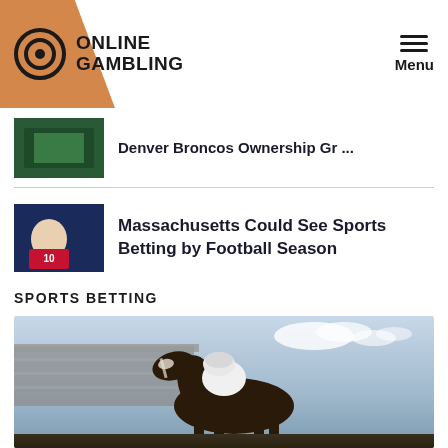ONLINE GAMBLING — Menu
Denver Broncos Ownership Gr ...
Massachusetts Could See Sports Betting by Football Season
SPORTS BETTING
[Figure (photo): Horse racing photo showing a dark horse with jockey in white silks at a racetrack]